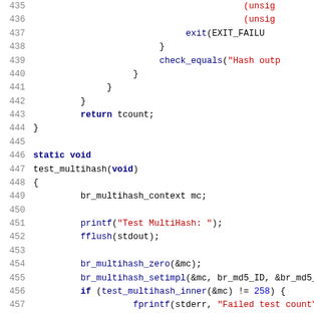[Figure (screenshot): Source code listing (C language) showing lines 435-467 of a file, with syntax highlighting. Line numbers in gray, keywords in dark blue bold, string literals in red, function calls in blue, numeric literals in blue.]